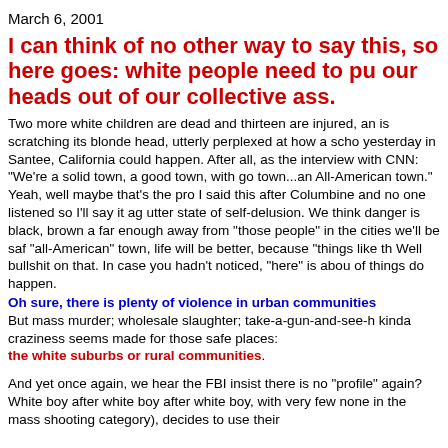March 6, 2001
I can think of no other way to say this, so here goes: white people need to pull our heads out of our collective ass.
Two more white children are dead and thirteen are injured, and America is scratching its blonde head, utterly perplexed at how a school shooting yesterday in Santee, California could happen. After all, as the mayor said in an interview with CNN: "We're a solid town, a good town, with good kids" -- a solid town...an All-American town." Yeah, well maybe that's the problem. I said this after Columbine and no one listened so I'll say it again: WHITE AMERICA'S utter state of self-delusion. We think danger is black, brown and poor. If we move far enough away from "those people" in the cities we'll be safe. If we live in an "all-American" town, life will be better, because "things like this don't happen here." Well bullshit on that. In case you hadn't noticed, "here" is about the only place these kinds of things do happen.
Oh sure, there is plenty of violence in urban communities.
But mass murder; wholesale slaughter; take-a-gun-and-see-how-many-kids-you-can-kill kinda craziness seems made for those safe places:
the white suburbs or rural communities.
And yet once again, we hear the FBI insist there is no "profile" for this. Oh really? White boy after white boy after white boy, with very few exceptions (remember those none in the mass shooting category), decides to use their gun...